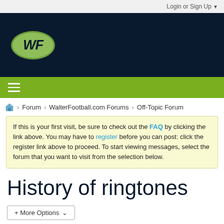Login or Sign Up ▼
[Figure (logo): WalterFootball.com logo: dark navy background with a green oval containing bold 'WF' text]
[Figure (other): Green navigation bar with hamburger menu icon]
Forum > WalterFootball.com Forums > Off-Topic Forum
If this is your first visit, be sure to check out the FAQ by clicking the link above. You may have to register before you can post: click the register link above to proceed. To start viewing messages, select the forum that you want to visit from the selection below.
History of ringtones
+ More Options ▾
Filter ▼